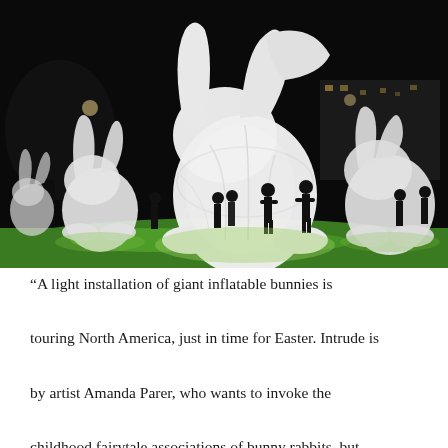[Figure (photo): Night-time outdoor art installation showing multiple large glowing white inflatable rabbit sculptures on a green lawn. People are silhouetted against the illuminated sculptures. Trees and city lights visible in the dark background.]
“A light installation of giant inflatable bunnies is touring North America, just in time for Easter. Intrude is by artist Amanda Parer, who wants to invoke the childhood fairytale associations of bunny rabbits, but